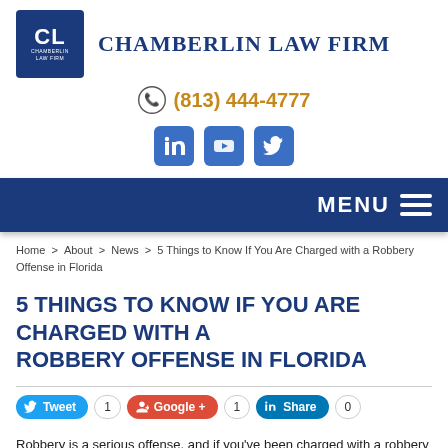[Figure (logo): Chamberlin Law Firm logo: blue square with 'CL' initials and firm name text]
(813) 444-4777
[Figure (infographic): Social media icons: LinkedIn, YouTube, Twitter]
MENU
Home > About > News > 5 Things to Know If You Are Charged with a Robbery Offense in Florida
5 THINGS TO KNOW IF YOU ARE CHARGED WITH A ROBBERY OFFENSE IN FLORIDA
[Figure (infographic): Social share buttons: Tweet (1), Google+ (1), Share (0)]
Robbery is a serious offense, and if you've been charged with a robbery in Florida, you should be hiring a...